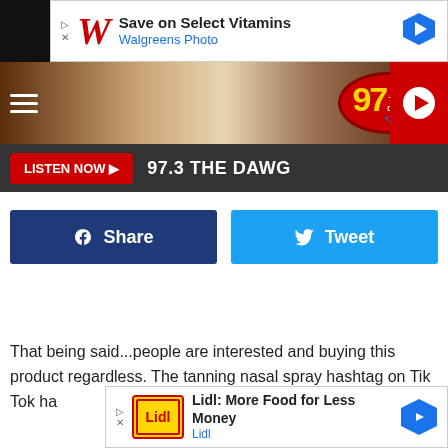[Figure (screenshot): Walgreens ad banner: Save on Select Vitamins, Walgreens Photo]
[Figure (logo): 97.3 The Dawg radio station header with hamburger menu and play button]
[Figure (screenshot): Listen Now button bar with text: 97.3 THE DAWG]
[Figure (screenshot): Facebook Share and Twitter Tweet buttons]
That being said...people are interested and buying this product regardless. The tanning nasal spray hashtag on Tik Tok ha... deos of peo... like
[Figure (screenshot): Lidl ad banner: Lidl: More Food for Less Money]